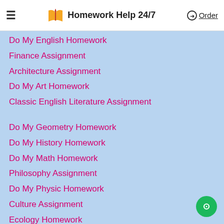Homework Help 24/7 — Order
Do My English Homework
Finance Assignment
Architecture Assignment
Do My Art Homework
Classic English Literature Assignment
Do My Geometry Homework
Do My History Homework
Do My Math Homework
Philosophy Assignment
Do My Physic Homework
Culture Assignment
Ecology Homework